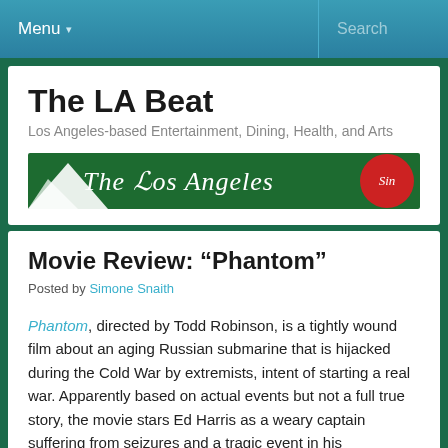Menu ▾   Search
The LA Beat
Los Angeles-based Entertainment, Dining, Health, and Arts
[Figure (illustration): Banner image with green background showing cursive text 'The Los Angeles' and a red circular logo element on the right]
Movie Review: “Phantom”
Posted by Simone Snaith
Phantom, directed by Todd Robinson, is a tightly wound film about an aging Russian submarine that is hijacked during the Cold War by extremists, intent of starting a real war. Apparently based on actual events but not a full true story, the movie stars Ed Harris as a weary captain suffering from seizures and a tragic event in his